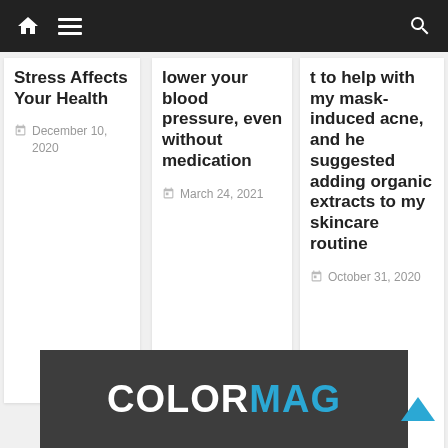Navigation bar with home icon, menu icon, and search icon
Stress Affects Your Health
December 10, 2020
lower your blood pressure, even without medication
March 24, 2021
t to help with my mask-induced acne, and he suggested adding organic extracts to my skincare routine
October 31, 2020
[Figure (logo): COLORMAG logo text on dark grey background, with COLOR in white and MAG in blue]